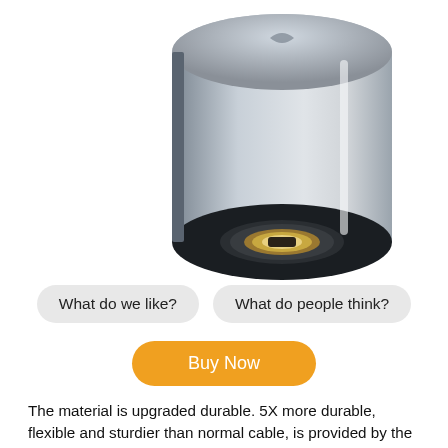[Figure (photo): Close-up photo of a silver USB-C adapter with a circular port visible on the bottom end, metallic cylindrical body with a logo on top, shown at an angle on a white background.]
What do we like?
What do people think?
Buy Now
The material is upgraded durable. 5X more durable, flexible and sturdier than normal cable, is provided by the high quality TPE jacket, standard 3.5mm jack. 5000+ testbending has been done to make sure it is reliable. The 2-in-1USB C Adapter allows you to connect your phone, PC, laptop and 3.5mm audio equipment to your computer and listen to music at the same time. Don't worry about the phone not working when you're on the phone or watching a movie. The only compatible device with which you can support PD charging is the one that has ausb c to audio connection